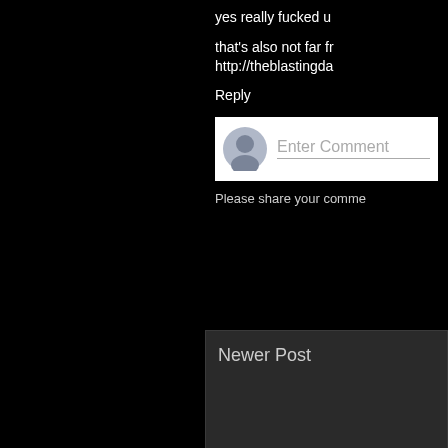yes really fucked u
that's also not far fr
http://theblastingda
Reply
[Figure (screenshot): Comment input box with avatar icon and 'Enter Comment' placeholder text]
Please share your comme
Newer Post